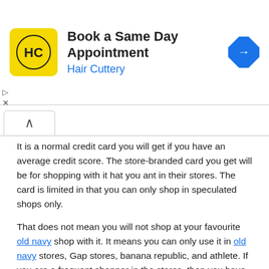[Figure (other): Hair Cuttery advertisement banner: yellow square logo with HC text, headline 'Book a Same Day Appointment', subtext 'Hair Cuttery' in blue, blue diamond arrow icon on right]
It is a normal credit card you will get if you have an average credit score. The store-branded card you get will be for shopping with it hat you ant in their stores. The card is limited in that you can only shop in speculated shops only.
That does not mean you will not shop at your favourite old navy shop with it. It means you can only use it in old navy stores, Gap stores, banana republic, and athlete. If you are a frequent shopper in the stores, then you have a lot to gain from the card. It also has benefits that you will see below.
Old Navy visa credit card
it is also store-branded credit card meant for the